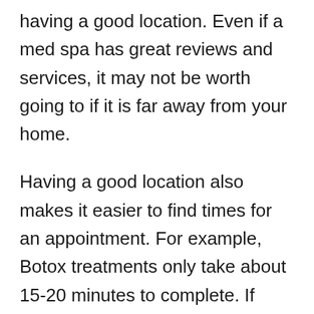having a good location. Even if a med spa has great reviews and services, it may not be worth going to if it is far away from your home.
Having a good location also makes it easier to find times for an appointment. For example, Botox treatments only take about 15-20 minutes to complete. If your med spa is near your home or work, you could even do this treatment on your lunch break!
Make sure you find a spa that is near your home and within a reasonable driving distance.